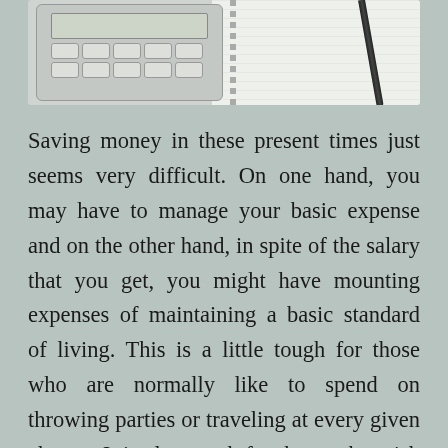[Figure (photo): Photo of a calculator and spiral notebook with a pencil on a light background]
Saving money in these present times just seems very difficult. On one hand, you may have to manage your basic expense and on the other hand, in spite of the salary that you get, you might have mounting expenses of maintaining a basic standard of living. This is a little tough for those who are normally like to spend on throwing parties or traveling at every given chance. It is also tough for those who wish to use their money on making